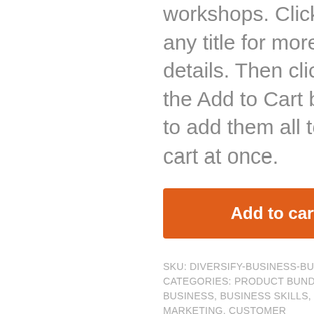workshops. Click on any title for more details. Then click on the Add to Cart button to add them all to your cart at once.
[Figure (other): Orange 'Add to cart' button]
SKU: DIVERSIFY-BUSINESS-BUNDLE-12
CATEGORIES: PRODUCT BUNDLES, BUSINESS, BUSINESS SKILLS, CONTENT MARKETING, CUSTOMER